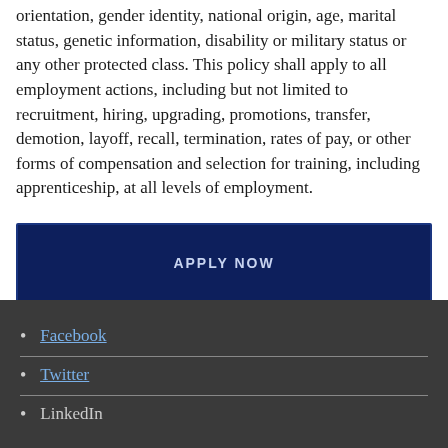orientation, gender identity, national origin, age, marital status, genetic information, disability or military status or any other protected class. This policy shall apply to all employment actions, including but not limited to recruitment, hiring, upgrading, promotions, transfer, demotion, layoff, recall, termination, rates of pay, or other forms of compensation and selection for training, including apprenticeship, at all levels of employment.
APPLY NOW
Facebook
Twitter
LinkedIn